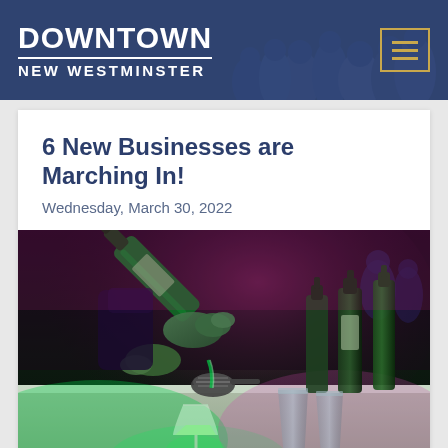DOWNTOWN NEW WESTMINSTER
6 New Businesses are Marching In!
Wednesday, March 30, 2022
[Figure (photo): Close-up of a bartender pouring a drink from a bottle into a cocktail strainer over a coupe glass on a white bar surface, with green and pink/magenta lighting. Several green glass bottles and tall glasses visible in background.]